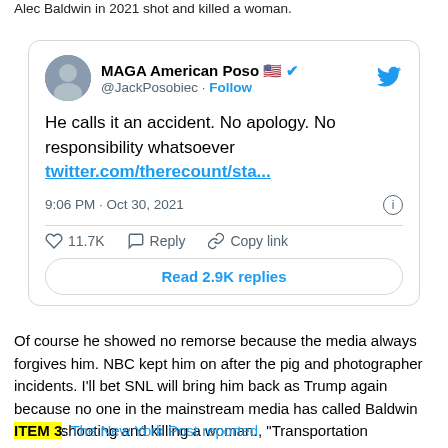Alec Baldwin in 2021 shot and killed a woman.
[Figure (screenshot): Embedded tweet from @JackPosobiec (MAGA American Poso) dated 9:06 PM · Oct 30, 2021. Tweet text: 'He calls it an accident. No apology. No responsibility whatsoever twitter.com/therecount/sta...' with 11.7K likes. Includes Reply and Copy link actions and a 'Read 2.9K replies' button.]
Of course he showed no remorse because the media always forgives him. NBC kept him on after the pig and photographer incidents. I'll bet SNL will bring him back as Trump again because no one in the mainstream media has called Baldwin out for shooting and killing a woman.
ITEM 3: The New York Post reported, "Transportation